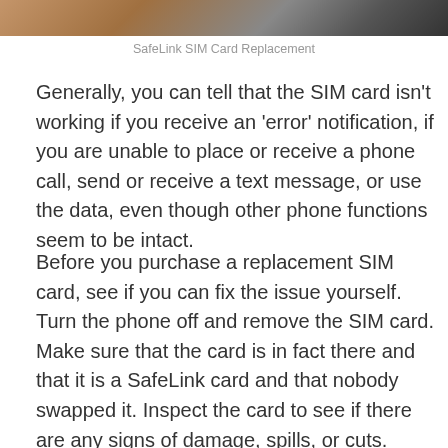[Figure (photo): Partial photo of a hand holding a smartphone, cropped at top of page]
SafeLink SIM Card Replacement
Generally, you can tell that the SIM card isn't working if you receive an 'error' notification, if you are unable to place or receive a phone call, send or receive a text message, or use the data, even though other phone functions seem to be intact.
Before you purchase a replacement SIM card, see if you can fix the issue yourself. Turn the phone off and remove the SIM card. Make sure that the card is in fact there and that it is a SafeLink card and that nobody swapped it. Inspect the card to see if there are any signs of damage, spills, or cuts. Clean the SIM card with a soft cloth and reinsert it into the device. Turn the phone back on and check if it works.